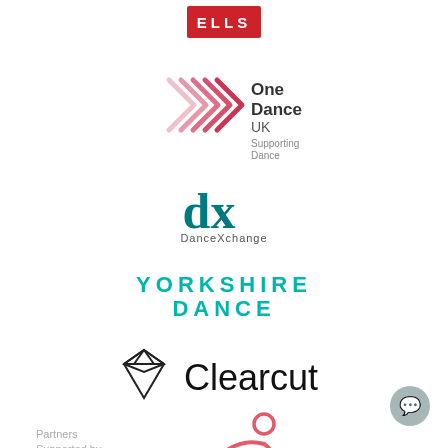[Figure (logo): ELLS logo — red rectangle with white text ELLS]
[Figure (logo): One Dance UK Supporting Dance logo with pink chevron arrows]
[Figure (logo): DanceXchange logo — teal dx letters with DanceXchange text below]
[Figure (logo): Yorkshire Dance logo in teal all-caps text]
[Figure (logo): Clearcut logo — diamond outline icon and Clearcut text]
[Figure (logo): Coral/pink stick figure dancer logo]
Partners
Supported by